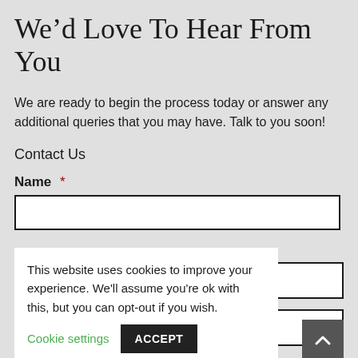We’d Love To Hear From You
We are ready to begin the process today or answer any additional queries that you may have. Talk to you soon!
Contact Us
Name *
[Figure (screenshot): Empty text input field for Name]
This website uses cookies to improve your experience. We'll assume you're ok with this, but you can opt-out if you wish.  Cookie settings  ACCEPT
Type of Loan *